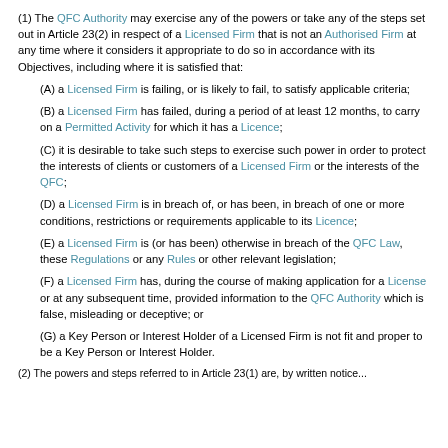(1) The QFC Authority may exercise any of the powers or take any of the steps set out in Article 23(2) in respect of a Licensed Firm that is not an Authorised Firm at any time where it considers it appropriate to do so in accordance with its Objectives, including where it is satisfied that:
(A) a Licensed Firm is failing, or is likely to fail, to satisfy applicable criteria;
(B) a Licensed Firm has failed, during a period of at least 12 months, to carry on a Permitted Activity for which it has a Licence;
(C) it is desirable to take such steps to exercise such power in order to protect the interests of clients or customers of a Licensed Firm or the interests of the QFC;
(D) a Licensed Firm is in breach of, or has been, in breach of one or more conditions, restrictions or requirements applicable to its Licence;
(E) a Licensed Firm is (or has been) otherwise in breach of the QFC Law, these Regulations or any Rules or other relevant legislation;
(F) a Licensed Firm has, during the course of making application for a License or at any subsequent time, provided information to the QFC Authority which is false, misleading or deceptive; or
(G) a Key Person or Interest Holder of a Licensed Firm is not fit and proper to be a Key Person or Interest Holder.
(2) The powers and steps referred to in Article 23(1) are, by written notice...